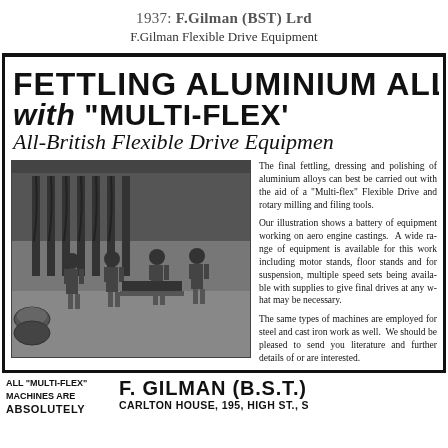1937: F.Gilman (BST) Lrd
F.Gilman Flexible Drive Equipment
FETTLING ALUMINIUM ALLOY CA with "MULTI-FLEX" All-British Flexible Drive Equipment
[Figure (photo): Factory floor showing workers using flexible drive equipment on aero engine castings, with overhead flexible shaft machines and workers in work clothes]
The final fettling, dressing and polishing of aluminium alloys can best be carried out with the aid of a "Multi-flex" Flexible Drive machine, using rotary milling and filing tools.

Our illustration shows a battery of equipment working on aero engine castings. A wide range of equipment is available for this work including motor stands, floor stands and for suspension, multiple speed sets being available with supplies to give final drives at any velocity that may be necessary.

The same types of machines are employed for steel and cast iron work as well. We shall be pleased to send you literature and further details of our products if you are interested.
ALL "MULTI-FLEX" MACHINES ARE ABSOLUTELY
F. GILMAN (B.S.T.) CARLTON HOUSE, 195, HIGH ST., S